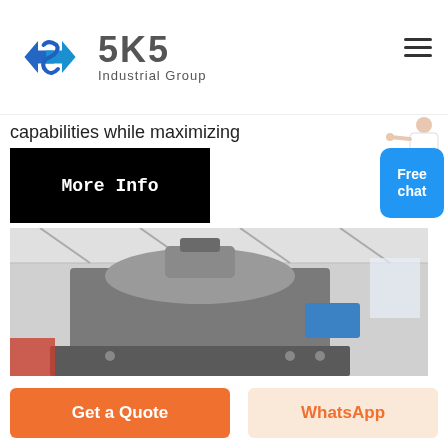[Figure (logo): SKS Industrial Group logo with blue S-shaped arrows icon and gray text]
capabilities while maximizing
More Info
[Figure (photo): Large industrial heavy machine (appears to be a vertical shaft impact crusher or similar industrial equipment) in a factory warehouse setting, gray and blue colored machinery]
Get a Quote
WhatsApp